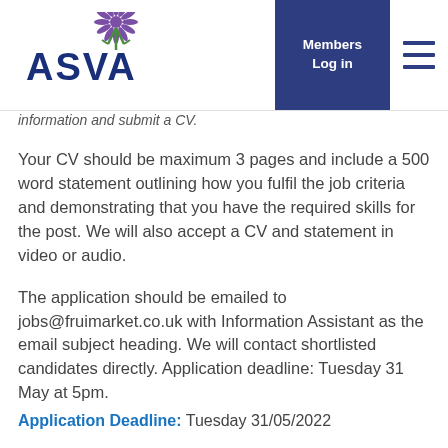[Figure (logo): ASVA logo with thistle flower graphic and stylized text 'ASVA' in dark navy/green]
Members Log in
information and submit a CV.
Your CV should be maximum 3 pages and include a 500 word statement outlining how you fulfil the job criteria and demonstrating that you have the required skills for the post. We will also accept a CV and statement in video or audio.
The application should be emailed to jobs@fruimarket.co.uk with Information Assistant as the email subject heading. We will contact shortlisted candidates directly. Application deadline: Tuesday 31 May at 5pm.
Application Deadline: Tuesday 31/05/2022